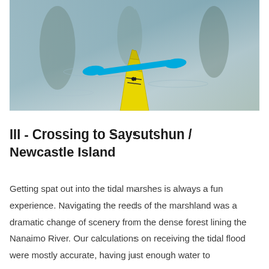[Figure (photo): A yellow kayak bow with a blue paddle resting on it, photographed from the paddler's perspective on calm water with reflections of trees.]
III - Crossing to Saysutshun / Newcastle Island
Getting spat out into the tidal marshes is always a fun experience. Navigating the reeds of the marshland was a dramatic change of scenery from the dense forest lining the Nanaimo River. Our calculations on receiving the tidal flood were mostly accurate, having just enough water to